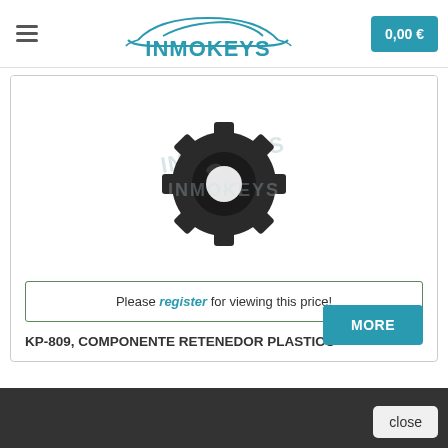INMOKEYS — 0,00 €
[Figure (photo): Dark plastic retainer component (gear-shaped ring) with INMOKEYS watermark overlay]
Please register for viewing this price!
KP-809, COMPONENTE RETENEDOR PLASTICO
MORE
close